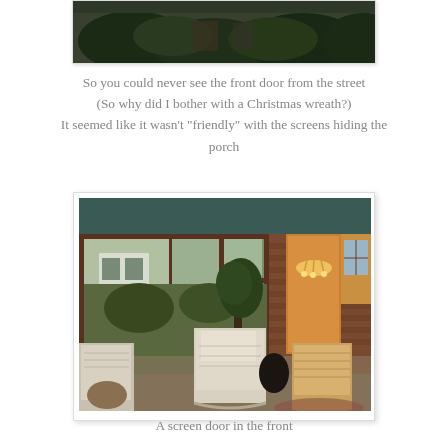[Figure (photo): Partial view of a house exterior with dark green shrubs/hedges visible, cropped at top of page]
So you could never see the front door from the street
(So why did I bother with a Christmas wreath?)
It seemed like it wasn't "friendly" with the screens hiding the porch
[Figure (photo): Interior of a screened-in front porch with wicker furniture, brick walls, large windows looking out to neighboring house and garden, an open door showing a chandelier inside the home]
A screen door in the front